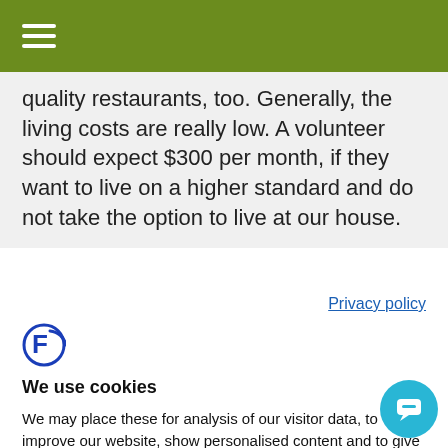quality restaurants, too. Generally, the living costs are really low. A volunteer should expect $300 per month, if they want to live on a higher standard and do not take the option to live at our house.
Privacy policy
[Figure (logo): Cookie consent logo - stylized F with circular arc]
We use cookies
We may place these for analysis of our visitor data, to improve our website, show personalised content and to give you a great website experience. For more information about the cookies we use open the settings.
ACCEPT ALL
DENY
NO, ADJUS